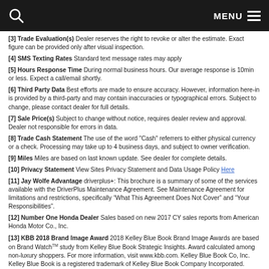MENU
[3] Trade Evaluation(s) Dealer reserves the right to revoke or alter the estimate. Exact figure can be provided only after visual inspection.
[4] SMS Texting Rates Standard text message rates may apply
[5] Hours Response Time During normal business hours. Our average response is 10min or less. Expect a call/email shortly.
[6] Third Party Data Best efforts are made to ensure accuracy. However, information here-in is provided by a third-party and may contain inaccuracies or typographical errors. Subject to change, please contact dealer for full details.
[7] Sale Price(s) Subject to change without notice, requires dealer review and approval. Dealer not responsible for errors in data.
[8] Trade Cash Statement The use of the word "Cash" referrers to either physical currency or a check. Processing may take up to 4 business days, and subject to owner verification.
[9] Miles Miles are based on last known update. See dealer for complete details.
[10] Privacy Statement View Sites Privacy Statement and Data Usage Policy Here
[11] Jay Wolfe Advantage driverplus+: This brochure is a summary of some of the services available with the DriverPlus Maintenance Agreement. See Maintenance Agreement for limitations and restrictions, specifically “What This Agreement Does Not Cover” and “Your Responsibilities”.
[12] Number One Honda Dealer Sales based on new 2017 CY sales reports from American Honda Motor Co., Inc.
[13] KBB 2018 Brand Image Award 2018 Kelley Blue Book Brand Image Awards are based on Brand Watch™ study from Kelley Blue Book Strategic Insights. Award calculated among non-luxury shoppers. For more information, visit www.kbb.com. Kelley Blue Book Co, Inc. Kelley Blue Book is a registered trademark of Kelley Blue Book Company Incorporated.
[14] Payment and Lease Disclaimer Payment(s) shown on website are subject to specific